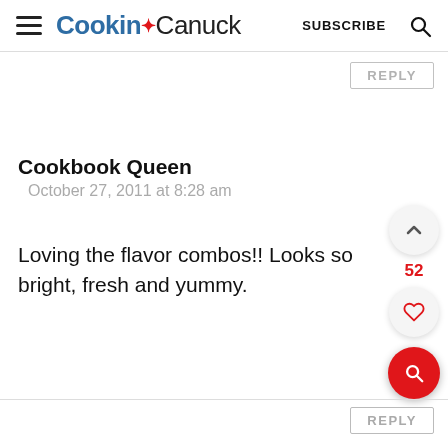Cookin' Canuck  SUBSCRIBE
Cookbook Queen
October 27, 2011 at 8:28 am
Loving the flavor combos!! Looks so bright, fresh and yummy.